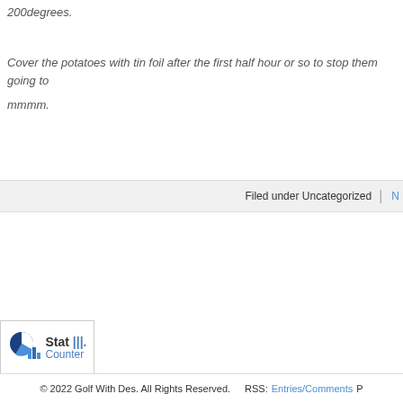200degrees.
Cover the potatoes with tin foil after the first half hour or so to stop them going to
mmmm.
Filed under Uncategorized | N…
[Figure (logo): StatCounter logo showing a pie chart icon with bar chart icon and text 'Stat Counter']
© 2022 Golf With Des. All Rights Reserved.   RSS: Entries/Comments  P…